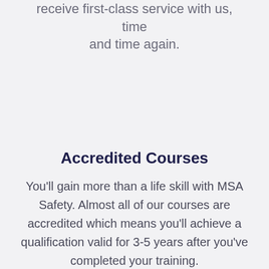receive first-class service with us, time and time again.
Accredited Courses
You'll gain more than a life skill with MSA Safety. Almost all of our courses are accredited which means you'll achieve a qualification valid for 3-5 years after you've completed your training.